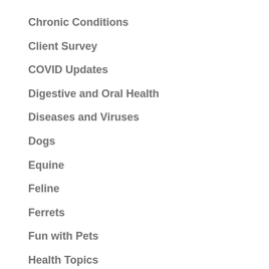Chronic Conditions
Client Survey
COVID Updates
Digestive and Oral Health
Diseases and Viruses
Dogs
Equine
Feline
Ferrets
Fun with Pets
Health Topics
Holiday
Keeping Pets Healthy
Living With Your Pet
Lizards